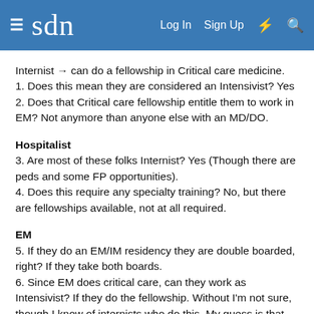sdn  Log In  Sign Up
Internist → can do a fellowship in Critical care medicine.
1. Does this mean they are considered an Intensivist? Yes
2. Does that Critical care fellowship entitle them to work in EM? Not anymore than anyone else with an MD/DO.
Hospitalist
3. Are most of these folks Internist? Yes (Though there are peds and some FP opportunities).
4. Does this require any specialty training? No, but there are fellowships available, not at all required.
EM
5. If they do an EM/IM residency they are double boarded, right? If they take both boards.
6. Since EM does critical care, can they work as Intensivist? If they do the fellowship. Without I'm not sure, though I know of internists who do this. My guess is that most EM people wouldn't want to.